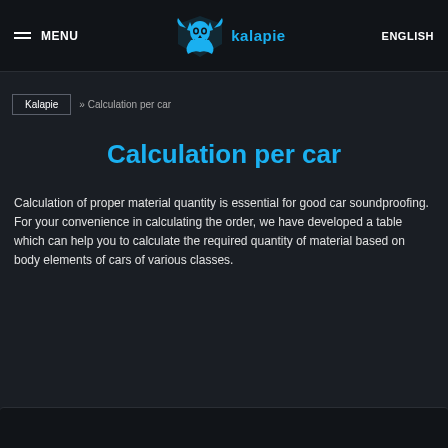MENU | kalapie | ENGLISH
Kalapie » Calculation per car
Calculation per car
Calculation of proper material quantity is essential for good car soundproofing. For your convenience in calculating the order, we have developed a table which can help you to calculate the required quantity of material based on body elements of cars of various classes.